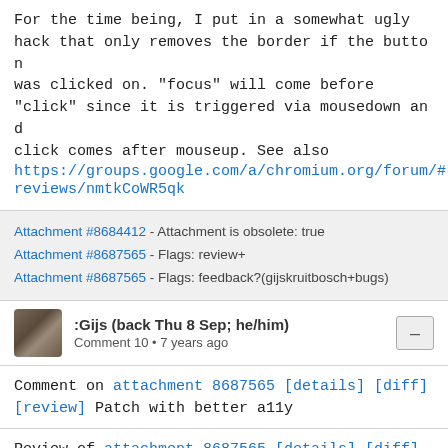For the time being, I put in a somewhat ugly hack that only removes the border if the button was clicked on. "focus" will come before "click" since it is triggered via mousedown and click comes after mouseup. See also https://groups.google.com/a/chromium.org/forum/#reviews/nmtkCoWR5qk
Attachment #8684412 - Attachment is obsolete: true
Attachment #8687565 - Flags: review+
Attachment #8687565 - Flags: feedback?(gijskruitbosch+bugs)
:Gijs (back Thu 8 Sep; he/him)
Comment 10 • 7 years ago
Comment on attachment 8687565 [details] [diff] [review]
Patch with better a11y
Review of attachment 8687565 [details] [diff]